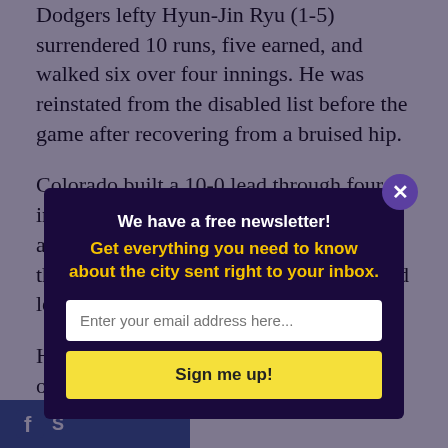Dodgers lefty Hyun-Jin Ryu (1-5) surrendered 10 runs, five earned, and walked six over four innings. He was reinstated from the disabled list before the game after recovering from a bruised hip.
Colorado built a 10-0 lead through four innings only to have the Dodgers chip away. Brett Eibner's run-scoring single in the ninth off Scott Oberg made it 10-6 and led to the Rockies calling in Holland.
Holland eventually struck out Yasiel Puig on a slider in the di... and th... for hi... the... many ch...
“It is Co... Cody Be... winning... down 10...
[Figure (screenshot): Newsletter signup modal overlay with dark purple background. Title: 'We have a free newsletter!' Subtitle in yellow: 'Get everything you need to know about the city sent right to your inbox.' Email input field with placeholder text 'Enter your email address here...' and a yellow 'Sign me up!' button. Close X button in top right corner.]